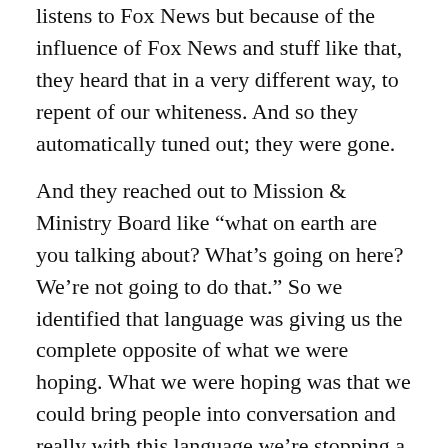listens to Fox News but because of the influence of Fox News and stuff like that, they heard that in a very different way, to repent of our whiteness. And so they automatically tuned out; they were gone.
And they reached out to Mission & Ministry Board like “what on earth are you talking about? What’s going on here? We’re not going to do that.” So we identified that language was giving us the complete opposite of what we were hoping. What we were hoping was that we could bring people into conversation and really with this language we’re stopping a conversation. So it was just incredibly frustrating to me. We were especially hearing that...